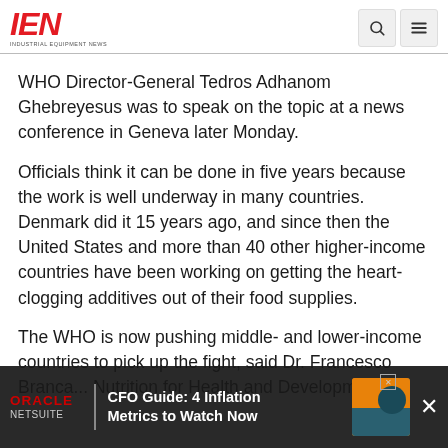IEN — Industrial Equipment News
WHO Director-General Tedros Adhanom Ghebreyesus was to speak on the topic at a news conference in Geneva later Monday.
Officials think it can be done in five years because the work is well underway in many countries. Denmark did it 15 years ago, and since then the United States and more than 40 other higher-income countries have been working on getting the heart-clogging additives out of their food supplies.
The WHO is now pushing middle- and lower-income countries to pick up the fight, said Dr. Francesco Branca... Nutrition for Health and Development.
[Figure (other): Oracle NetSuite advertisement banner: CFO Guide: 4 Inflation Metrics to Watch Now]